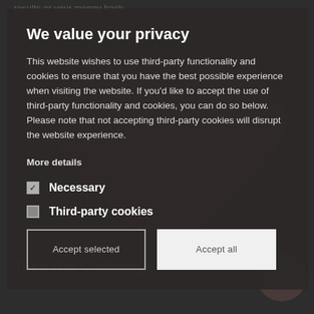results or your money back.
We value your privacy
This website wishes to use third-party functionality and cookies to ensure that you have the best possible experience when visiting the website. If you'd like to accept the use of third-party functionality and cookies, you can do so below. Please note that not accepting third-party cookies will disrupt the website experience.
More details
Necessary (checked)
Third-party cookies (unchecked)
Accept selected
Accept all
Take the Challenge